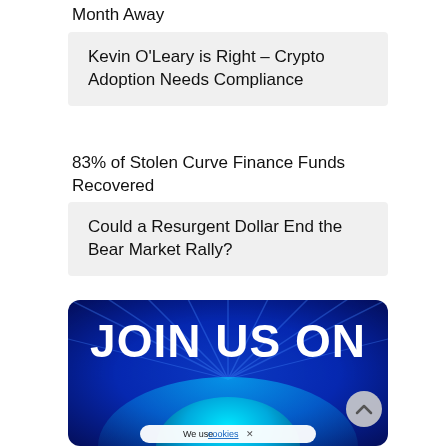Month Away
Kevin O'Leary is Right – Crypto Adoption Needs Compliance
83% of Stolen Curve Finance Funds Recovered
Could a Resurgent Dollar End the Bear Market Rally?
[Figure (illustration): Dark blue banner with rays of light, text 'JOIN US ON' in large white bold letters, teal glowing circle/orb at bottom, scroll-to-top button, and a cookie consent bar reading 'We use cookies ×']